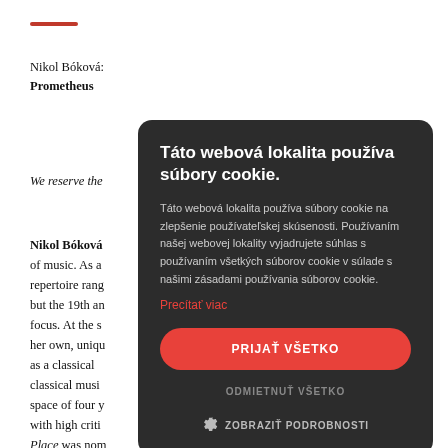—
Nikol Bóková:
Prometheus
We reserve the
Nikol Bóková of music. As a repertoire rang but the 19th an focus. At the s her own, uniqu as a classical classical musi space of four y with high criti Place was nom Award. The second album, Omráčení, Nikol recorded with Michal Wierzgoń and Martin Kocián, who are foremost
[Figure (screenshot): Cookie consent dialog overlay with dark background. Title: 'Táto webová lokalita používa súbory cookie.' Body text explaining cookie usage in Slovak. Red link 'Precítať viac'. Red 'PRIJAŤ VŠETKO' button. Gray 'ODMIETNUŤ VŠETKO' button. Gray 'ZOBRAZIŤ PODROBNOSTI' with gear icon.]